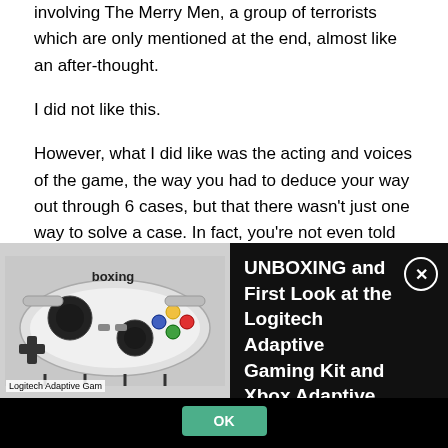involving The Merry Men, a group of terrorists which are only mentioned at the end, almost like an after-thought.
I did not like this.
However, what I did like was the acting and voices of the game, the way you had to deduce your way out through 6 cases, but that there wasn't just one way to solve a case. In fact, you're not even told how the case had been actually solved unless you want to know. Let's say this assuaged my interest in creatively solving cases. The gameplay is challenging and fun, you re-enact murders and get to dress
[Figure (screenshot): Advertisement overlay showing a Logitech Adaptive Gaming Kit and Xbox Adaptive Controller unboxing video thumbnail with black background. Text reads: UNBOXING and First Look at the Logitech Adaptive Gaming Kit and Xbox Adaptive Controller. Has a close (X) button and an OK button.]